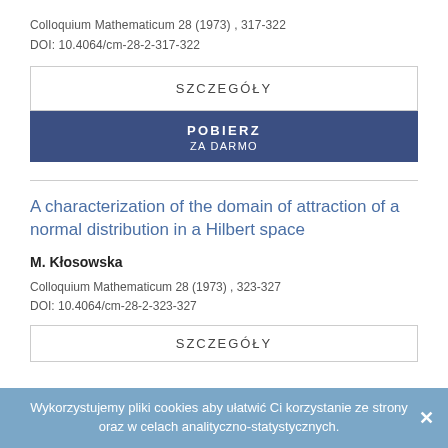Colloquium Mathematicum 28 (1973) , 317-322
DOI: 10.4064/cm-28-2-317-322
SZCZEGÓŁY
POBIERZ
ZA DARMO
A characterization of the domain of attraction of a normal distribution in a Hilbert space
M. Kłosowska
Colloquium Mathematicum 28 (1973) , 323-327
DOI: 10.4064/cm-28-2-323-327
SZCZEGÓŁY
Wykorzystujemy pliki cookies aby ułatwić Ci korzystanie ze strony oraz w celach analityczno-statystycznych.